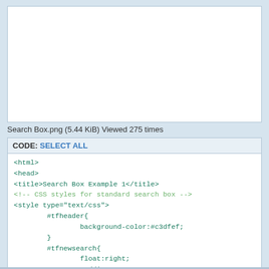[Figure (screenshot): White image/screenshot box showing a search box example preview]
Search Box.png (5.44 KiB) Viewed 275 times
CODE: SELECT ALL
<html>
<head>
<title>Search Box Example 1</title>
<!-- CSS styles for standard search box -->
<style type="text/css">
        #tfheader{
                background-color:#c3dfef;
        }
        #tfnewsearch{
                float:right;
                padding:20px;
        }
        .tftextinput{
                margin: 0;
Thanks
Raindrop